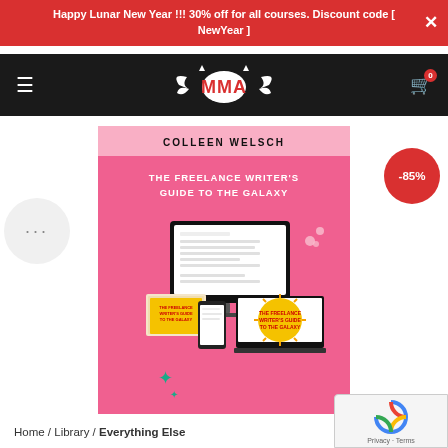Happy Lunar New Year !!! 30% off for all courses. Discount code [ NewYear ]
[Figure (logo): MMA logo with bat wings on dark navbar]
[Figure (illustration): Book cover: The Freelance Writer's Guide to the Galaxy by Colleen Welsch, pink background with illustration of laptop, tablet and phone]
-85%
...
Home / Library / Everything Else